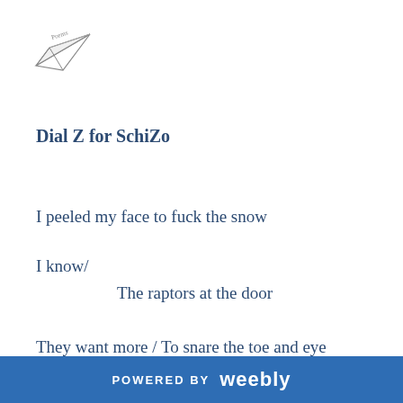[Figure (logo): Paper airplane logo with handwritten text]
Dial Z for SchiZo
I peeled my face to fuck the snow
I know/
The raptors at the door
They want more / To snare the toe and eye
The lie is in the loin / The coin / The calf / Sea parts
POWERED BY weebly